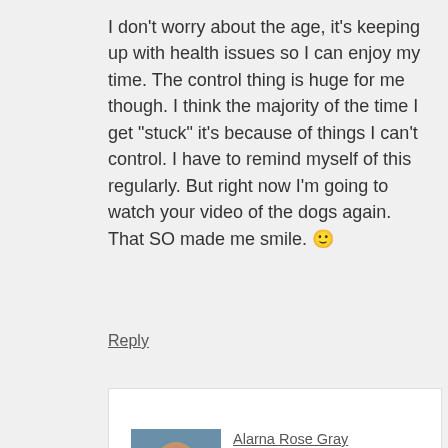I don't worry about the age, it's keeping up with health issues so I can enjoy my time. The control thing is huge for me though. I think the majority of the time I get "stuck" it's because of things I can't control. I have to remind myself of this regularly. But right now I'm going to watch your video of the dogs again. That SO made me smile. 🙂
Reply
[Figure (photo): Profile photo of Alarna Rose Gray - a woman looking to the side near water]
Alarna Rose Gray says March 19, 2013 at 10:57 am